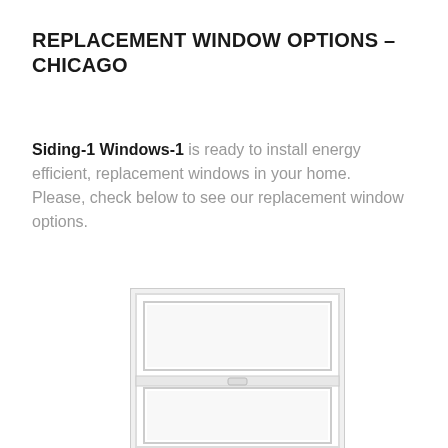REPLACEMENT WINDOW OPTIONS – CHICAGO
Siding-1 Windows-1 is ready to install energy efficient, replacement windows in your home. Please, check below to see our replacement window options.
[Figure (illustration): A white double-hung replacement window shown partially cropped at the bottom of the page, with two panes visible, a lock mechanism in the center, and a light gray frame on a white background.]